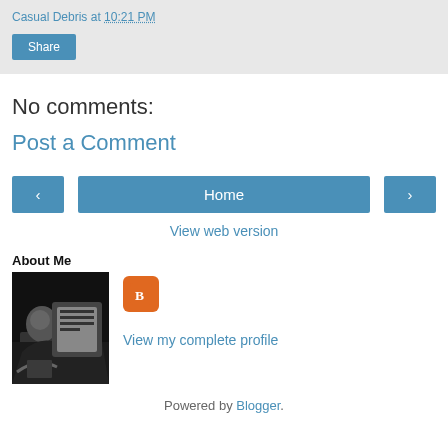Casual Debris at 10:21 PM
Share
No comments:
Post a Comment
‹  Home  ›
View web version
About Me
[Figure (photo): Black and white illustration of a person reading or writing, used as profile image]
View my complete profile
Powered by Blogger.